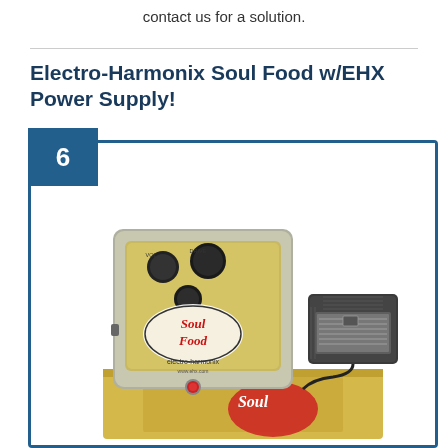contact us for a solution.
Electro-Harmonix Soul Food w/EHX Power Supply!
[Figure (photo): Electro-Harmonix Soul Food guitar effects pedal with knobs, displayed next to an EHX power supply adapter, both sitting on top of a yellow product box. The pedal is silver/grey textured with gold/green labeling and red cursive 'Soul Food' text and 'electro-harmonix' branding.]